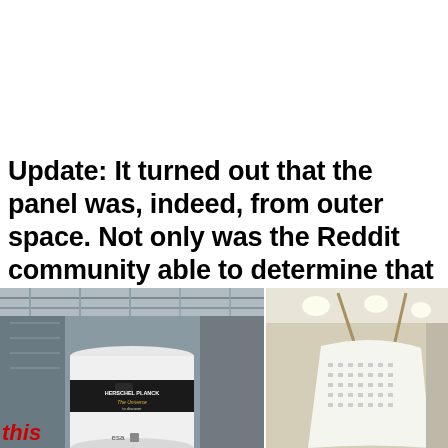Update: It turned out that the panel was, indeed, from outer space. Not only was the Reddit community able to determine that it was a piece of the exterior shell of a space shuttle, but they were able to figure out which specific rocket it came from.
[Figure (photo): Two side-by-side photos. Left: a white cylindrical space component with ESA/Herschel-Planck branding reading 'The Universe' and 'to discover', photographed in what appears to be an industrial facility. Bottom-left shows red 'this' text. Right: a white curved panel or shell structure hanging from cables in a bright room.]